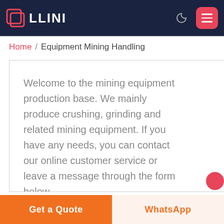LLINI
Home / Equipment Mining Handling
Welcome to the mining equipment production base. We mainly produce crushing, grinding and related mining equipment. If you have any needs, you can contact our online customer service or leave a message through the form below.
Free chat
Get a Quote | WhatsApp